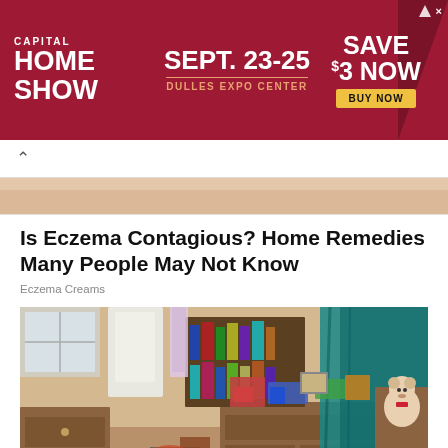[Figure (other): Advertisement banner for Capital Home Show, Sept. 23-25, Dulles Expo Center. Save $3 Now. Buy Now button.]
[Figure (photo): Partial view of a person's skin/back at the top of the article photo.]
Is Eczema Contagious? Home Remedies Many People May Not Know
Eczema Creams
[Figure (photo): Photo of a very cluttered, messy bedroom with wooden dresser covered in items, bookshelves, clothes hanging, a teddy bear on a shelf, bags and toys scattered on the floor.]